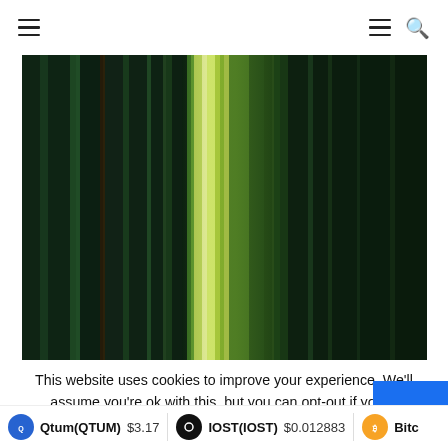Navigation header with hamburger menu and search icon
[Figure (photo): Abstract vertical green light streaks/bars on dark background, ranging from deep dark green to bright lime/yellow-green in the center]
This website uses cookies to improve your experience. We'll assume you're ok with this, but you can opt-out if you w
Qtum(QTUM) $3.17  IOST(IOST) $0.012883  Bitc